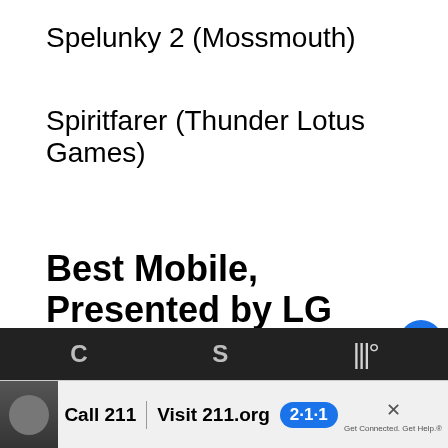Spelunky 2 (Mossmouth)
Spiritfarer (Thunder Lotus Games)
Best Mobile, Presented by LG WING, Powered by Qualcomm Snapdragon
Among Us (InnerSloth)
WHAT'S NEXT → 2016 Oscars Nominees
Call 211  Visit 211.org  2·1·1